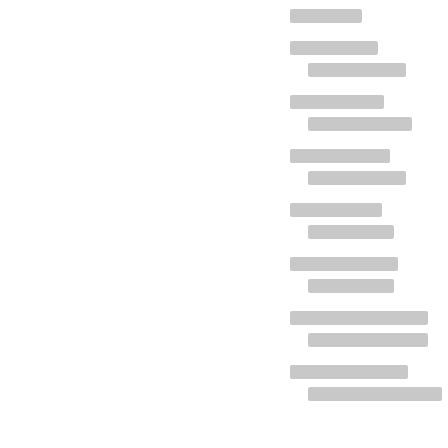[redacted content - multiple lines of redacted text blocks arranged in paired rows]